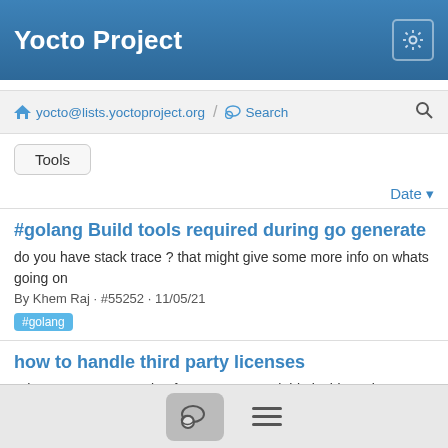Yocto Project
yocto@lists.yoctoproject.org / Search
Tools
Date
#golang Build tools required during go generate
do you have stack trace ? that might give some more info on whats going on
By Khem Raj · #55252 · 11/05/21
#golang
how to handle third party licenses
Whatever you are setting for LICENSE Variable inside recipe